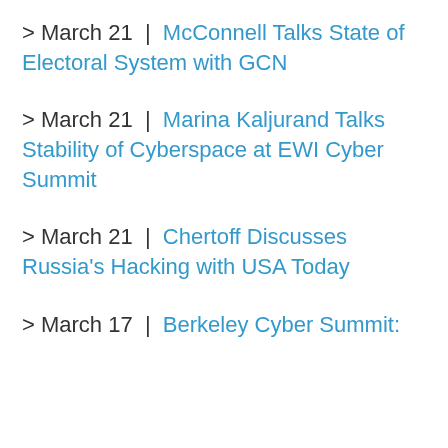> March 21 | McConnell Talks State of Electoral System with GCN
> March 21 | Marina Kaljurand Talks Stability of Cyberspace at EWI Cyber Summit
> March 21 | Chertoff Discusses Russia's Hacking with USA Today
> March 17 | Berkeley Cyber Summit: